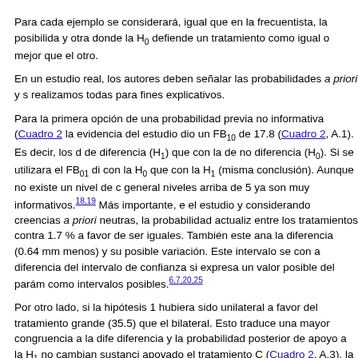Para cada ejemplo se considerará, igual que en la frecuentista, la posibilida y otra donde la H₀ defiende un tratamiento como igual o mejor que el otro.
En un estudio real, los autores deben señalar las probabilidades a priori y s realizamos todas para fines explicativos.
Para la primera opción de una probabilidad previa no informativa (Cuadro 2 la evidencia del estudio dio un FB₁₀ de 17.8 (Cuadro 2, A.1). Es decir, los d de diferencia (H₁) que con la de no diferencia (H₀). Si se utilizara el FB₀₁ di con la H₀ que con la H₁ (misma conclusión). Aunque no existe un nivel de c general niveles arriba de 5 ya son muy informativos.¹⁸˒¹⁹ Más importante, e el estudio y considerando creencias a priori neutras, la probabilidad actualiz entre los tratamientos contra 1.7 % a favor de ser iguales. También este ana la diferencia (0.64 mm menos) y su posible variación. Este intervalo se con a diferencia del intervalo de confianza si expresa un valor posible del parám como intervalos posibles.⁶˒⁷˒²⁰˒²⁵
Por otro lado, si la hipótesis 1 hubiera sido unilateral a favor del tratamiento grande (35.5) que el bilateral. Esto traduce una mayor congruencia a la dife diferencia y la probabilidad posterior de apoyo a la H₁ no cambian sustanci apoyado el tratamiento C (Cuadro 2, A.3), la FB₁₀ sería a favor de la hipóte favor de la hipótesis de mayor eficiencia con el tratamiento C bajaría de una
Como revisamos, en ocasiones los investigadores tienen argumentos para comparado con el C desde antes del estudio. Esta información optimista ha de este grupo sobre el otro e implicaría considerar una probabilidad a priori la evidencia del estudio generará modificaciones en las conclusiones (Cua